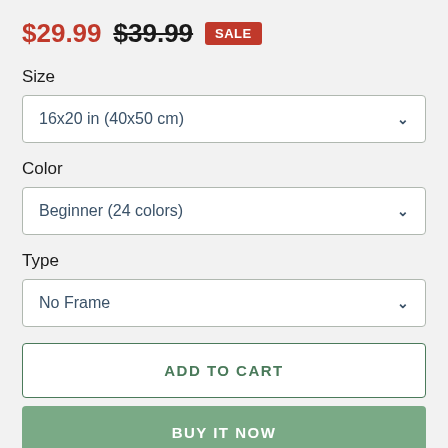$29.99  $39.99  SALE
Size
16x20 in (40x50 cm)
Color
Beginner (24 colors)
Type
No Frame
ADD TO CART
BUY IT NOW